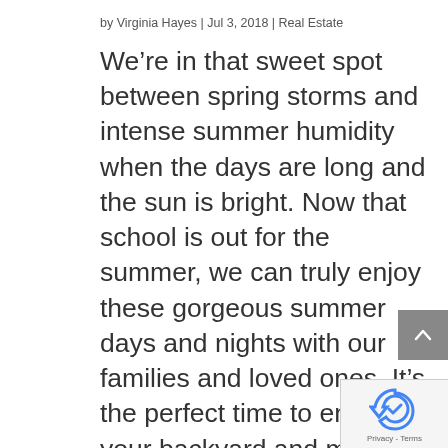by Virginia Hayes | Jul 3, 2018 | Real Estate
We’re in that sweet spot between spring storms and intense summer humidity when the days are long and the sun is bright. Now that school is out for the summer, we can truly enjoy these gorgeous summer days and nights with our families and loved ones. It’s the perfect time to enjoy your backyard and make the most out of your indoor/outdoor living space. Whether you’re looking to make a big change, or just add a few finishing touches, I’ve got a few suggestions that will make you never want to leave your backyard.